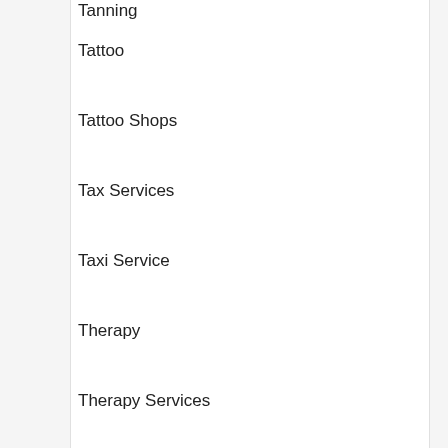Tanning
Tattoo
Tattoo Shops
Tax Services
Taxi Service
Therapy
Therapy Services
Things to Do
Things to See
Thrifty
Tickets
Tile Installation
Timeshares
Tires
Tools
Tourist Attractions